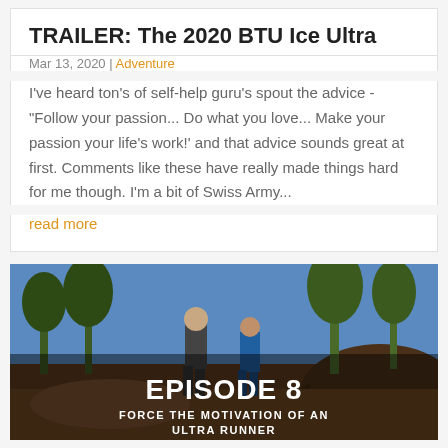TRAILER: The 2020 BTU Ice Ultra
Mar 13, 2020 | Adventure
I've heard ton's of self-help guru's spout the advice - "Follow your passion... Do what you love... Make your passion your life's work!' and that advice sounds great at first. Comments like these have really made things hard for me though. I'm a bit of Swiss Army...
read more
[Figure (photo): Two trail runners running on rocky terrain with trees in background. Overlay text reads EPISODE 8 and FORCE THE MOTIVATION OF AN ULTRA RUNNER]